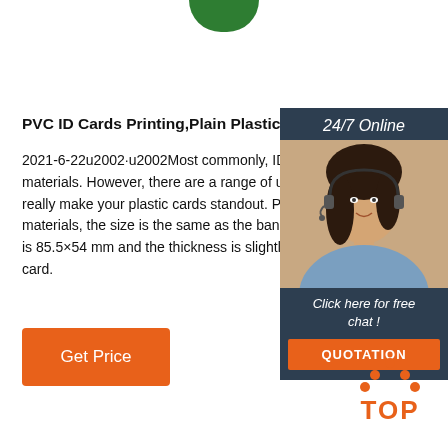[Figure (logo): Green rounded logo at top center]
PVC ID Cards Printing,Plain Plastic ID Cards,Photo
2021-6-22u2002·u2002Most commonly, ID Cards are made from standard materials. However, there are a range of unique materials that can really make your plastic cards standout. PVC - Made materials, the size is the same as the bank card. The size is 85.5×54 mm and the thickness is slightly thinner than the bank card.
[Figure (infographic): Customer service chat widget with 24/7 Online header, woman with headset photo, Click here for free chat text, and QUOTATION orange button]
[Figure (illustration): Orange TOP button with dots arranged in triangle above text]
Get Price